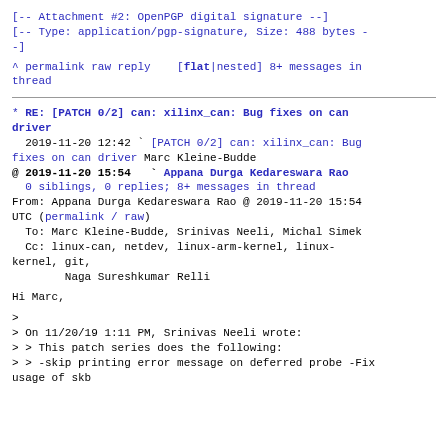[-- Attachment #2: OpenPGP digital signature --]
[-- Type: application/pgp-signature, Size: 488 bytes --]
^ permalink raw reply    [flat|nested] 8+ messages in thread
* RE: [PATCH 0/2] can: xilinx_can: Bug fixes on can driver
  2019-11-20 12:42 ` [PATCH 0/2] can: xilinx_can: Bug fixes on can driver Marc Kleine-Budde
@ 2019-11-20 15:54   ` Appana Durga Kedareswara Rao
  0 siblings, 0 replies; 8+ messages in thread
From: Appana Durga Kedareswara Rao @ 2019-11-20 15:54 UTC (permalink / raw)
  To: Marc Kleine-Budde, Srinivas Neeli, Michal Simek
  Cc: linux-can, netdev, linux-arm-kernel, linux-kernel, git,
        Naga Sureshkumar Relli
Hi Marc,
>
> On 11/20/19 1:11 PM, Srinivas Neeli wrote:
> > This patch series does the following:
> > -skip printing error message on deferred probe -Fix usage of skb